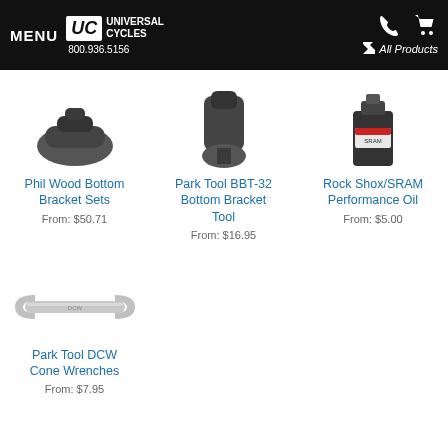MENU | UC Universal Cycles | 800.936.5156 | All Products
[Figure (photo): Phil Wood Bottom Bracket Sets product image (dark bicycle component)]
Phil Wood Bottom Bracket Sets
From: $50.71
[Figure (photo): Park Tool BBT-32 Bottom Bracket Tool product image (dark tool)]
Park Tool BBT-32 Bottom Bracket Tool
From: $16.95
[Figure (photo): Rock Shox/SRAM Performance Oil product image (small bottle/container)]
Rock Shox/SRAM Performance Oil
From: $5.00
[Figure (photo): Park Tool DCW Cone Wrenches product image (silver open-end wrench)]
Park Tool DCW Cone Wrenches
From: $7.95